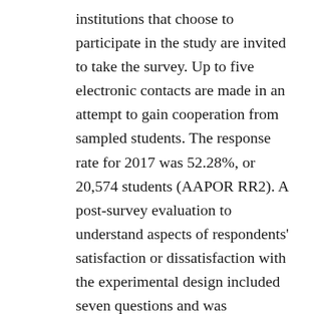institutions that choose to participate in the study are invited to take the survey. Up to five electronic contacts are made in an attempt to gain cooperation from sampled students. The response rate for 2017 was 52.28%, or 20,574 students (AAPOR RR2). A post-survey evaluation to understand aspects of respondents' satisfaction or dissatisfaction with the experimental design included seven questions and was conducted with students at 44 of the participating schools. The post-survey evaluation was programmed in Qualtrics (Provo, UT) and linked at the end of the LSSSE so that it would not appear to be part of the law school